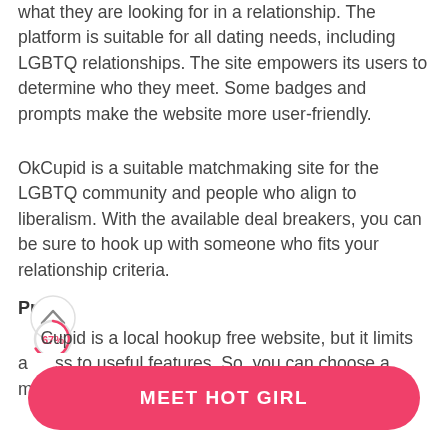what they are looking for in a relationship. The platform is suitable for all dating needs, including LGBTQ relationships. The site empowers its users to determine who they meet. Some badges and prompts make the website more user-friendly.
OkCupid is a suitable matchmaking site for the LGBTQ community and people who align to liberalism. With the available deal breakers, you can be sure to hook up with someone who fits your relationship criteria.
Pr...
[Figure (infographic): A circular progress indicator showing 67% with an upward chevron arrow inside a white circle]
OkCupid is a local hookup free website, but it limits access to useful features. So, you can choose a membership package from the following options:
MEET HOT GIRL